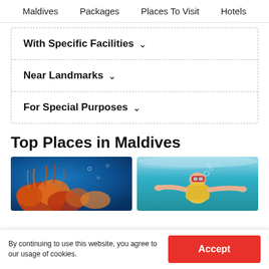Maldives   Packages   Places To Visit   Hotels
With Specific Facilities ∨
Near Landmarks ∨
For Special Purposes ∨
Top Places in Maldives
[Figure (photo): Underwater coral reef scene with orange and red corals against blue water]
[Figure (photo): Person snorkeling underwater with goggles and life vest in turquoise water]
By continuing to use this website, you agree to our usage of cookies.